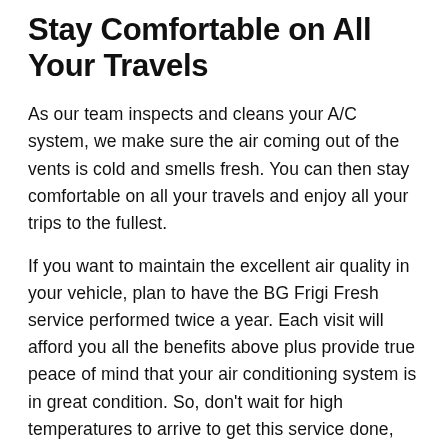Stay Comfortable on All Your Travels
As our team inspects and cleans your A/C system, we make sure the air coming out of the vents is cold and smells fresh. You can then stay comfortable on all your travels and enjoy all your trips to the fullest.
If you want to maintain the excellent air quality in your vehicle, plan to have the BG Frigi Fresh service performed twice a year. Each visit will afford you all the benefits above plus provide true peace of mind that your air conditioning system is in great condition. So, don't wait for high temperatures to arrive to get this service done, schedule your visit today.